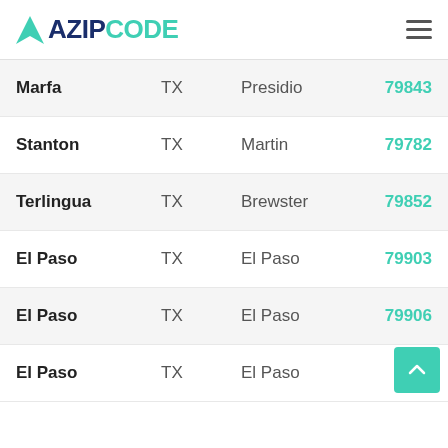AZIPCODE
| City | State | County | ZIP |
| --- | --- | --- | --- |
| Marfa | TX | Presidio | 79843 |
| Stanton | TX | Martin | 79782 |
| Terlingua | TX | Brewster | 79852 |
| El Paso | TX | El Paso | 79903 |
| El Paso | TX | El Paso | 79906 |
| El Paso | TX | El Paso | 79... |